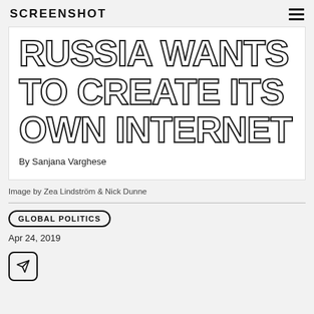SCREENSHOT
RUSSIA WANTS TO CREATE ITS OWN INTERNET
By Sanjana Varghese
Image by Zea Lindström & Nick Dunne
GLOBAL POLITICS
Apr 24, 2019